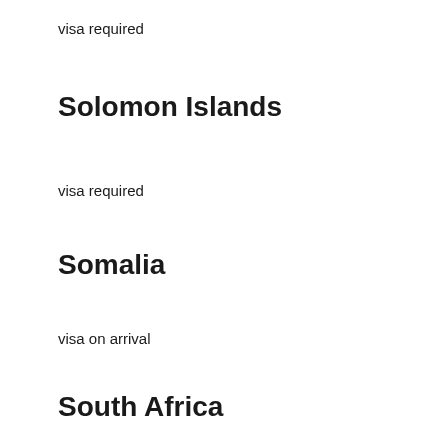visa required
Solomon Islands
visa required
Somalia
visa on arrival
South Africa
visa-free
South Korea